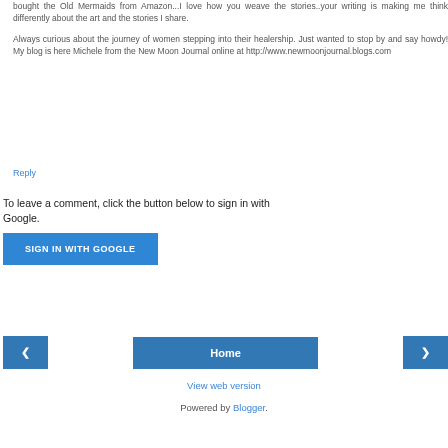bought the Old Mermaids from Amazon...I love how you weave the stories..your writing is making me think differently about the art and the stories I share.

Always curious about the journey of women stepping into their healership. Just wanted to stop by and say howdy! My blog is here Michele from the New Moon Journal online at http://www.newmoonjournal.blogs.com
Reply
To leave a comment, click the button below to sign in with Google.
SIGN IN WITH GOOGLE
◂
Home
▸
View web version
Powered by Blogger.